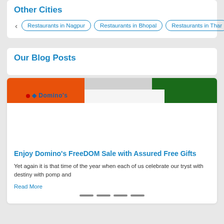Other Cities
Restaurants in Nagpur
Restaurants in Bhopal
Restaurants in Thar
Our Blog Posts
[Figure (photo): Domino's FreeDOM Sale blog post banner with orange, white and green sections]
Enjoy Domino's FreeDOM Sale with Assured Free Gifts
Yet again it is that time of the year when each of us celebrate our tryst with destiny with pomp and
Read More